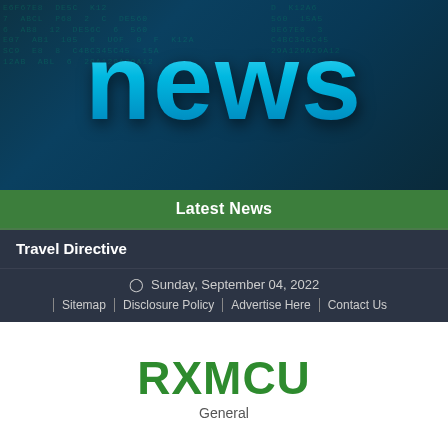[Figure (photo): Hero banner image with large glowing blue 'news' text over dark digital/code background]
Latest News
Travel Directive
Sunday, September 04, 2022
| Sitemap | Disclosure Policy | Advertise Here | Contact Us
RXMCU
General
TAG: VALLEY